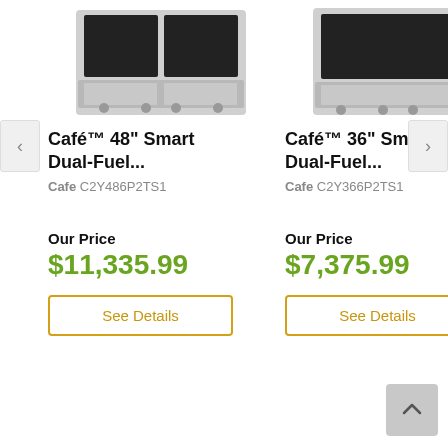[Figure (photo): Café 48-inch stainless steel dual-fuel range appliance product photo, top portion visible]
Café™ 48" Smart Dual-Fuel...
Cafe C2Y486P2TS1
Our Price
$11,335.99
See Details
[Figure (photo): Café 36-inch stainless steel dual-fuel range appliance product photo, top portion visible]
Café™ 36" Smart Dual-Fuel...
Cafe C2Y366P2TS1
Our Price
$7,375.99
See Details